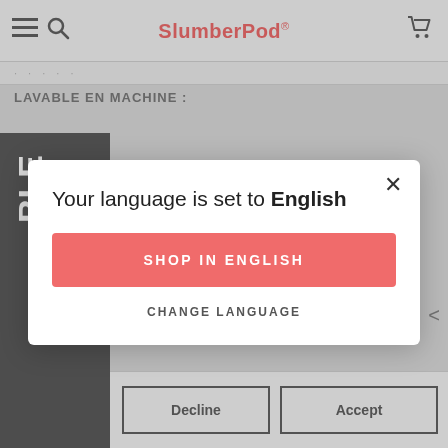SlumberPod®
LAVABLE EN MACHINE :
[Figure (screenshot): Language selection modal dialog on SlumberPod website showing 'Your language is set to English' with 'SHOP IN ENGLISH' button and 'CHANGE LANGUAGE' link, overlaying a product page with Decline and Accept cookie buttons at the bottom]
Your language is set to English
SHOP IN ENGLISH
CHANGE LANGUAGE
Decline
Accept